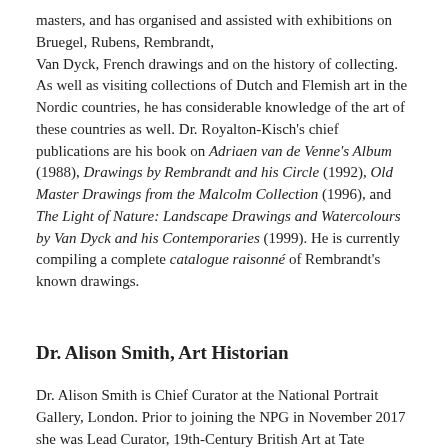masters, and has organised and assisted with exhibitions on Bruegel, Rubens, Rembrandt, Van Dyck, French drawings and on the history of collecting. As well as visiting collections of Dutch and Flemish art in the Nordic countries, he has considerable knowledge of the art of these countries as well. Dr. Royalton-Kisch's chief publications are his book on Adriaen van de Venne's Album (1988), Drawings by Rembrandt and his Circle (1992), Old Master Drawings from the Malcolm Collection (1996), and The Light of Nature: Landscape Drawings and Watercolours by Van Dyck and his Contemporaries (1999). He is currently compiling a complete catalogue raisonné of Rembrandt's known drawings.
Dr. Alison Smith, Art Historian
Dr. Alison Smith is Chief Curator at the National Portrait Gallery, London. Prior to joining the NPG in November 2017 she was Lead Curator, 19th-Century British Art at Tate Britain, London. Dr. Smith is a specialist in nineteenth-century British art with a particular interest in its global connections. During her time at Tate she curated and co-curated a